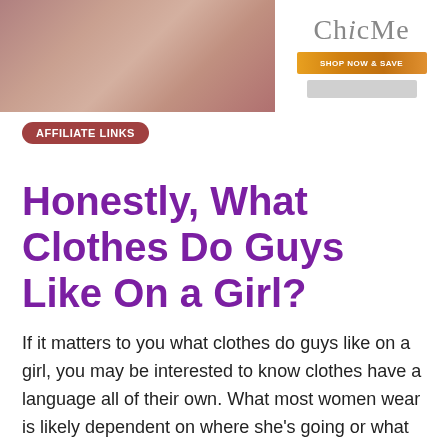[Figure (illustration): Advertisement banner for ChicMe with a pinkish-brown photo collage on the left and ChicMe logo with promotional graphic on the right]
AFFILIATE LINKS
Honestly, What Clothes Do Guys Like On a Girl?
If it matters to you what clothes do guys like on a girl, you may be interested to know clothes have a language all of their own. What most women wear is likely dependent on where she's going or what kind of day it is, not thinking about the clothes guys like on a girl. It might be raining or cold or extra hot and humid that day.
When you see another woman dressed the sexiest, it's due to the fact she's competing with someone else. What you